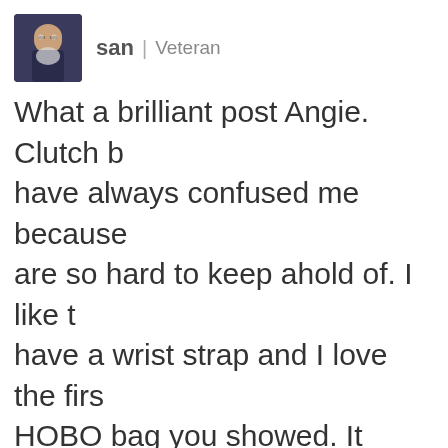[Figure (photo): User avatar photo of a person wearing glasses holding a cat, dark blue background]
san | Veteran
What a brilliant post Angie. Clutch bags have always confused me because they are so hard to keep ahold of. I like to have a wrist strap and I love the first HOBO bag you showed. It looks so soft and comfortable. I like soft and comfortable!
December 1, 2011 at 12:30 am